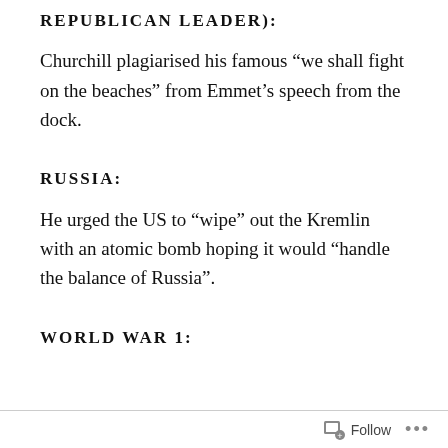REPUBLICAN LEADER:
Churchill plagiarised his famous “we shall fight on the beaches” from Emmet’s speech from the dock.
RUSSIA:
He urged the US to “wipe” out the Kremlin with an atomic bomb hoping it would “handle the balance of Russia”.
WORLD WAR 1:
Follow ...